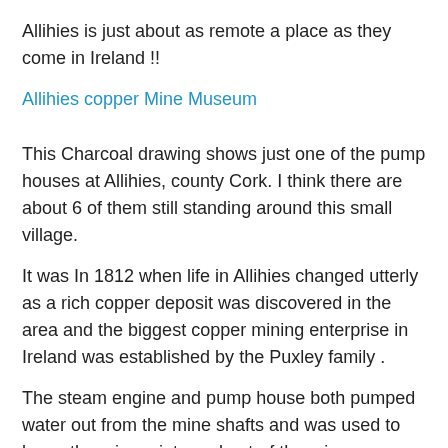Allihies is just about as remote a place as they come in Ireland !!
Allihies copper Mine Museum
This Charcoal drawing shows just one of the pump houses at Allihies, county Cork. I think there are about 6 of them still standing around this small village.
It was In 1812 when life in Allihies changed utterly as a rich copper deposit was discovered in the area and the biggest copper mining enterprise in Ireland was established by the Puxley family .
The steam engine and pump house both pumped water out from the mine shafts and was used to lower the miners into and out-of the mine, some 250feet below the hill side. Its hard to imagine now the life these miners had , many